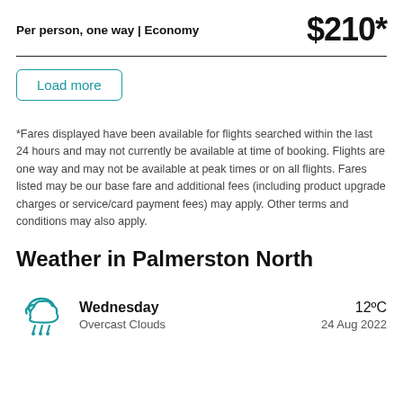Per person, one way | Economy
$210*
Load more
*Fares displayed have been available for flights searched within the last 24 hours and may not currently be available at time of booking. Flights are one way and may not be available at peak times or on all flights. Fares listed may be our base fare and additional fees (including product upgrade charges or service/card payment fees) may apply. Other terms and conditions may also apply.
Weather in Palmerston North
[Figure (illustration): Cloud with rain drops icon in teal/cyan color]
Wednesday
Overcast Clouds
12ºC
24 Aug 2022